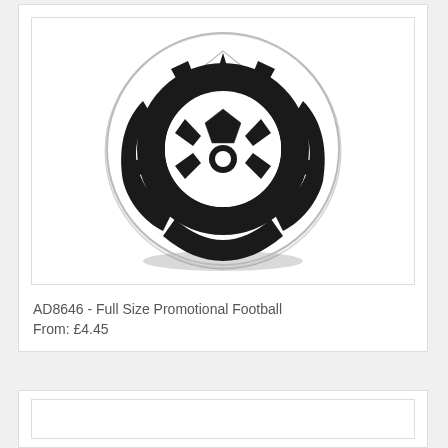[Figure (photo): A white and black promotional football (soccer ball) with a decorative black graphic/tribal pattern overlaid on the classic pentagon panel design, photographed on a white background.]
AD8646 - Full Size Promotional Football
From: £4.45